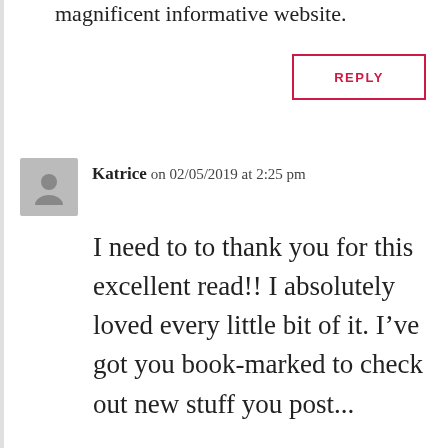magnificent informative website.
REPLY
Katrice on 02/05/2019 at 2:25 pm
I need to to thank you for this excellent read!! I absolutely loved every little bit of it. I've got you book-marked to check out new stuff you post...
REPLY
tinyurl.com on 02/05/2019 at 2:06 pm